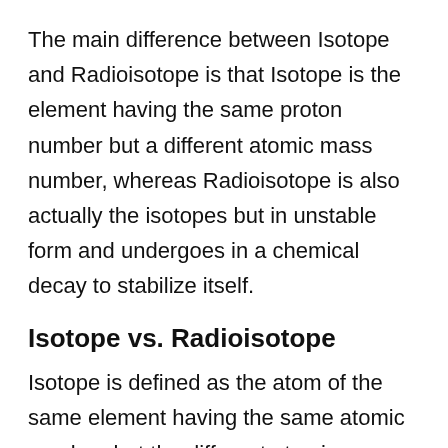The main difference between Isotope and Radioisotope is that Isotope is the element having the same proton number but a different atomic mass number, whereas Radioisotope is also actually the isotopes but in unstable form and undergoes in a chemical decay to stabilize itself.
Isotope vs. Radioisotope
Isotope is defined as the atom of the same element having the same atomic number, but the different atomic mass number; on the other hand, the radioisotope is also the isotopes b...